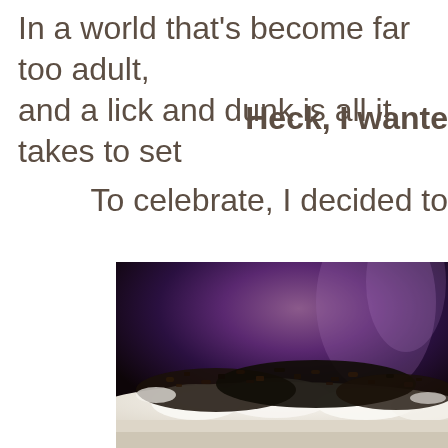In a world that's become far too adult, and a lick and dunk is all it takes to set
Heck, I wante
To celebrate, I decided to
[Figure (photo): Close-up photo of a dessert dish — appears to be an Oreo icebox cake or similar layered dessert with white whipped cream and dark cookie crumble topping, served in a white dish, with a purple/dark background]